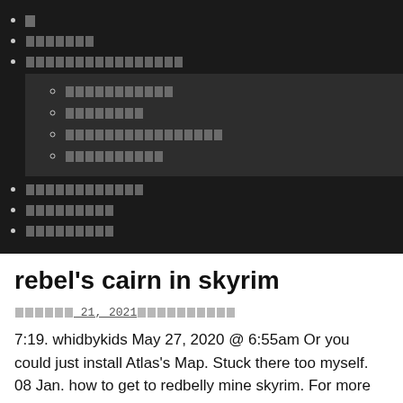█
███████
████████████████
███████████
████████
████████████████
██████████
████████████
█████████
█████████
rebel's cairn in skyrim
██████ 21, 2021██████████
7:19. whidbykids May 27, 2020 @ 6:55am Or you could just install Atlas's Map. Stuck there too myself. 08 Jan. how to get to redbelly mine skyrim. For more fun, please visit